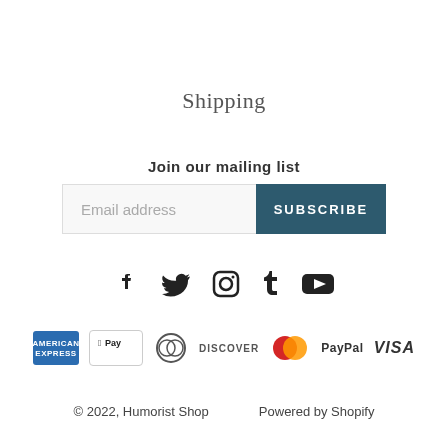Shipping
Join our mailing list
Email address  SUBSCRIBE
[Figure (infographic): Social media icons row: Facebook, Twitter, Instagram, Tumblr, YouTube]
[Figure (infographic): Payment method icons: American Express, Apple Pay, Diners Club, Discover, Mastercard, PayPal, Visa]
© 2022, Humorist Shop    Powered by Shopify